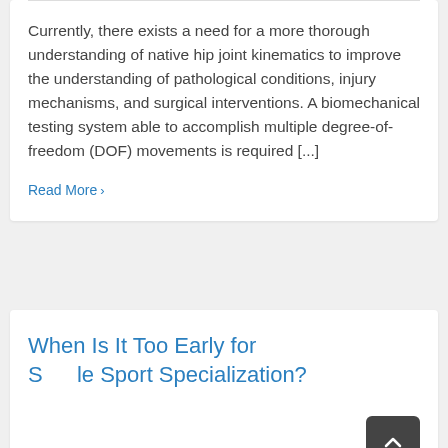Currently, there exists a need for a more thorough understanding of native hip joint kinematics to improve the understanding of pathological conditions, injury mechanisms, and surgical interventions. A biomechanical testing system able to accomplish multiple degree-of-freedom (DOF) movements is required [...]
Read More ›
When Is It Too Early for Single Sport Specialization?